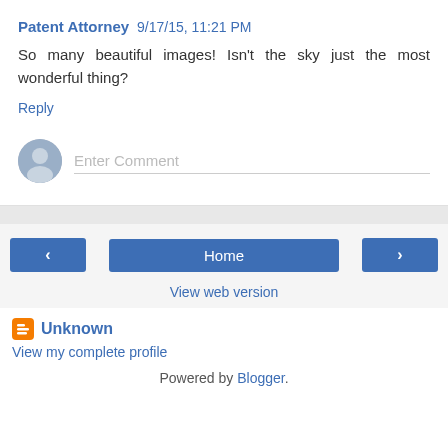Patent Attorney 9/17/15, 11:21 PM
So many beautiful images! Isn't the sky just the most wonderful thing?
Reply
Enter Comment
Home
View web version
Unknown
View my complete profile
Powered by Blogger.